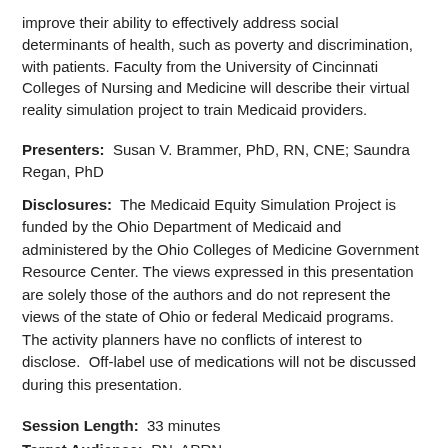improve their ability to effectively address social determinants of health, such as poverty and discrimination, with patients. Faculty from the University of Cincinnati Colleges of Nursing and Medicine will describe their virtual reality simulation project to train Medicaid providers.
Presenters: Susan V. Brammer, PhD, RN, CNE; Saundra Regan, PhD
Disclosures: The Medicaid Equity Simulation Project is funded by the Ohio Department of Medicaid and administered by the Ohio Colleges of Medicine Government Resource Center. The views expressed in this presentation are solely those of the authors and do not represent the views of the state of Ohio or federal Medicaid programs. The activity planners have no conflicts of interest to disclose. Off-label use of medications will not be discussed during this presentation.
Session Length: 33 minutes
Target Audience: RN, APRN